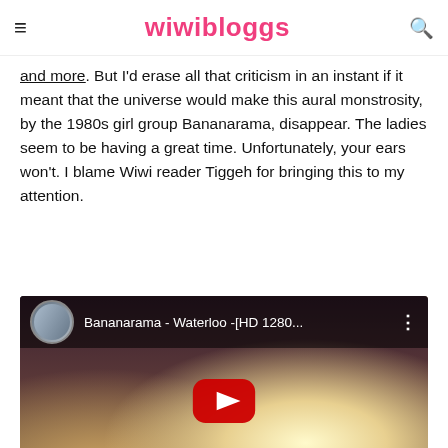wiwibloggs
and more. But I'd erase all that criticism in an instant if it meant that the universe would make this aural monstrosity, by the 1980s girl group Bananarama, disappear. The ladies seem to be having a great time. Unfortunately, your ears won't. I blame Wiwi reader Tiggeh for bringing this to my attention.
[Figure (screenshot): YouTube video embed showing Bananarama - Waterloo -[HD 1280... with play button overlay. Shows a music video scene with women in costumes and candles.]